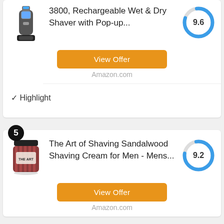[Figure (photo): Electric razor/shaver product image (partial top of card)]
3800, Rechargeable Wet & Dry Shaver with Pop-up...
[Figure (donut-chart): Score circle showing 9.6]
View Offer
Amazon.com
✓ Highlight
[Figure (photo): The Art of Shaving Sandalwood Shaving Cream jar product image]
The Art of Shaving Sandalwood Shaving Cream for Men - Mens...
[Figure (donut-chart): Score circle showing 9.2]
View Offer
Amazon.com